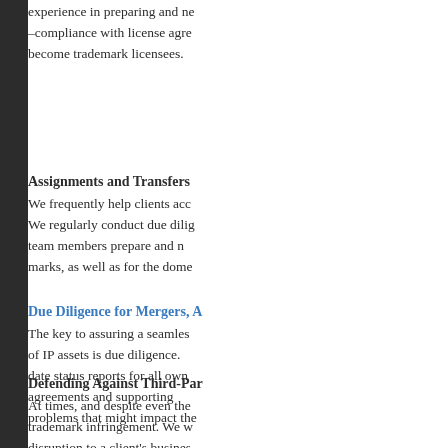experience in preparing and negotiating –compliance with license agreements and become trademark licensees.
Assignments and Transfers
We frequently help clients acquire and assign. We regularly conduct due diligence and team members prepare and negotiate marks, as well as for the dome
Due Diligence for Mergers, A
The key to assuring a seamless transition of IP assets is due diligence. date status reports for all owned agreements and supporting problems that might impact the
Defending Against Third-Par
At times, and despite even the trademark infringement. We w disruption to a client's busines.